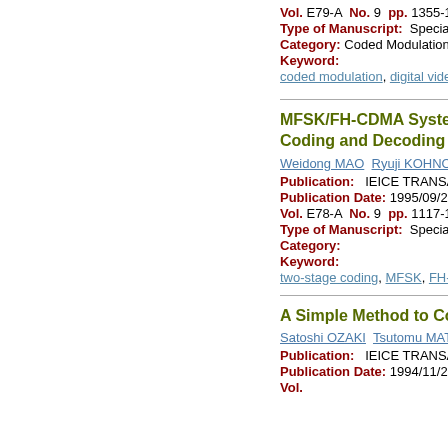Vol. E79-A  No. 9  pp. 1355-1360
Type of Manuscript:  Special Section
Category: Coded Modulation
Keyword:
coded modulation, digital video, satell...
MFSK/FH-CDMA System w... Coding and Decoding
Weidong MAO  Ryuji KOHNO  Hideki...
Publication:  IEICE TRANSACTION...
Publication Date: 1995/09/25
Vol. E78-A  No. 9  pp. 1117-1126
Type of Manuscript:  Special Section...
Category:
Keyword:
two-stage coding, MFSK, FH-CDMA,...
A Simple Method to Control...
Satoshi OZAKI  Tsutomu MATSUMOT...
Publication:  IEICE TRANSACTION...
Publication Date: 1994/11/25
Vol. ...